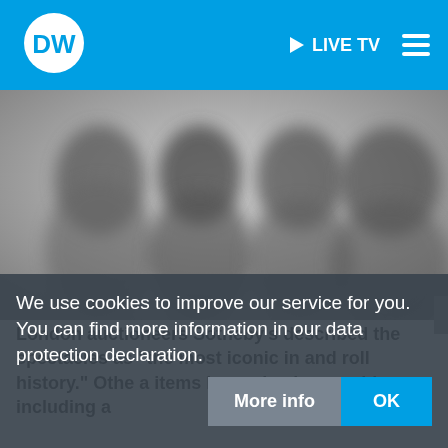[Figure (logo): DW (Deutsche Welle) logo - white circular logo with DW text on blue background]
▶ LIVE TV
[Figure (photo): Blurred black and white photograph of four people, appears to be a music band]
We use cookies to improve our service for you. You can find more information in our data protection declaration.
London auctioneers Sotheby's described the spectacles as "the most iconic in and roll history." Othe a items have also been sold, including a
More info
OK